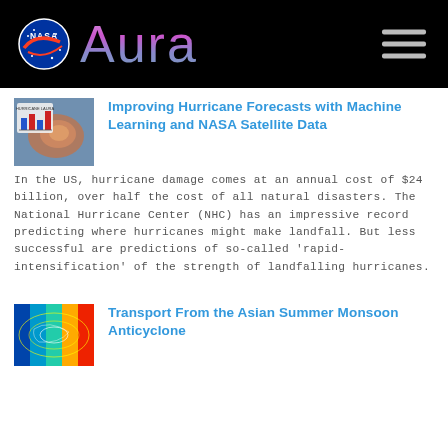NASA Aura
Improving Hurricane Forecasts with Machine Learning and NASA Satellite Data
[Figure (screenshot): Thumbnail image showing Hurricane Laura with bar chart overlay]
In the US, hurricane damage comes at an annual cost of $24 billion, over half the cost of all natural disasters. The National Hurricane Center (NHC) has an impressive record predicting where hurricanes might make landfall. But less successful are predictions of so-called 'rapid-intensification' of the strength of landfalling hurricanes.
Transport From the Asian Summer Monsoon Anticyclone
[Figure (screenshot): Thumbnail image showing atmospheric data visualization with color gradient]